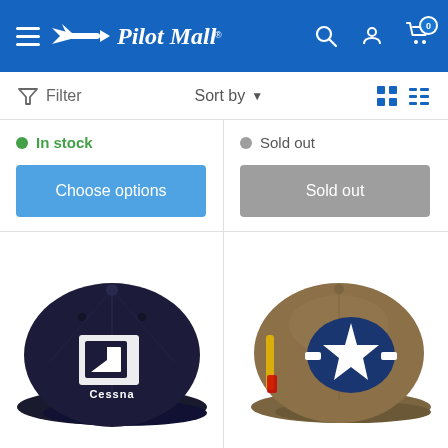Pilot Mall - navigation header with menu, search, account, cart (0)
Filter | Sort by | grid/list view icons
In stock
Sold out
Choose options
Sold out
[Figure (photo): Navy blue baseball cap with embroidered Cessna logo (square icon with C and 'Cessna' text below) on white background]
[Figure (photo): Tan/khaki baseball cap with circular blue and white star military insignia patch on front, on white background]